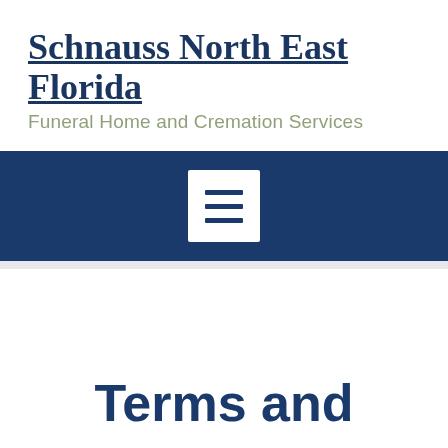[Figure (logo): Schnauss North East Florida Funeral Home and Cremation Services logo with underlined serif heading and sage-colored subheading]
[Figure (other): Dark navy navigation bar with a white hamburger menu button (three horizontal lines)]
Terms and